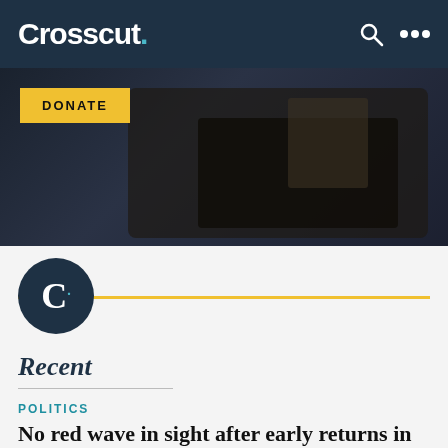Crosscut.
[Figure (photo): Dark background with leather bag, partially visible. A yellow DONATE button is overlaid in the upper-left of the image.]
[Figure (logo): Crosscut logo: dark navy circle with white letter C and teal dot]
Recent
POLITICS
No red wave in sight after early returns in key legislative race